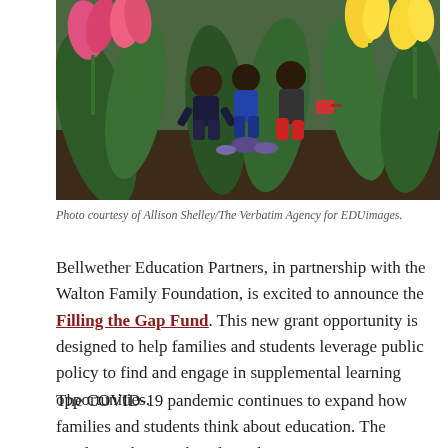[Figure (photo): Children crouching in a garden with colorful tulips — pink, yellow — examining plants and soil. An outdoor educational garden scene.]
Photo courtesy of Allison Shelley/The Verbatim Agency for EDUimages.
Bellwether Education Partners, in partnership with the Walton Family Foundation, is excited to announce the Filling the Gap Fund. This new grant opportunity is designed to help families and students leverage public policy to find and engage in supplemental learning opportunities.
The COVID-19 pandemic continues to expand how families and students think about education. The pandemic disrupted students' learning experiences, often with enormous